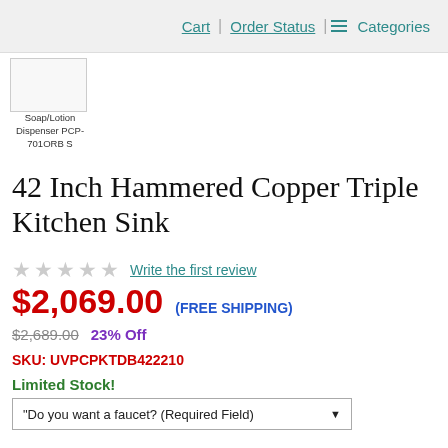Cart | Order Status | Categories
[Figure (photo): Small product thumbnail image of Soap/Lotion Dispenser PCP-701ORB S]
Soap/Lotion Dispenser PCP-701ORB S
42 Inch Hammered Copper Triple Kitchen Sink
★★★★★ Write the first review
$2,069.00 (FREE SHIPPING)
$2,689.00 23% Off
SKU: UVPCPKTDB422210
Limited Stock!
"Do you want a faucet? (Required Field)
Do you want a drain? (Required Field)
Do you want installation silicone? (Required F